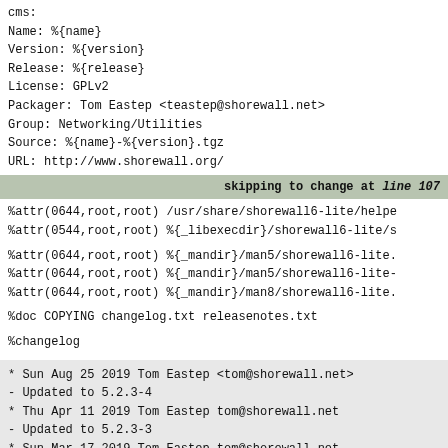cms:
Name: %{name}
Version: %{version}
Release: %{release}
License: GPLv2
Packager: Tom Eastep <teastep@shorewall.net>
Group: Networking/Utilities
Source: %{name}-%{version}.tgz
URL: http://www.shorewall.org/
skipping to change at line 107
%attr(0644,root,root) /usr/share/shorewall6-lite/helpe
%attr(0544,root,root) %{_libexecdir}/shorewall6-lite/s
%attr(0644,root,root) %{_mandir}/man5/shorewall6-lite.
%attr(0644,root,root) %{_mandir}/man5/shorewall6-lite-
%attr(0644,root,root) %{_mandir}/man8/shorewall6-lite.
%doc COPYING changelog.txt releasenotes.txt
%changelog
* Sun Aug 25 2019 Tom Eastep <tom@shorewall.net>
- Updated to 5.2.3-4
* Thu Apr 11 2019 Tom Eastep tom@shorewall.net
- Updated to 5.2.3-3
* Sun Mar 17 2019 Tom Eastep tom@shorewall.net
- Updated to 5.2.3-2